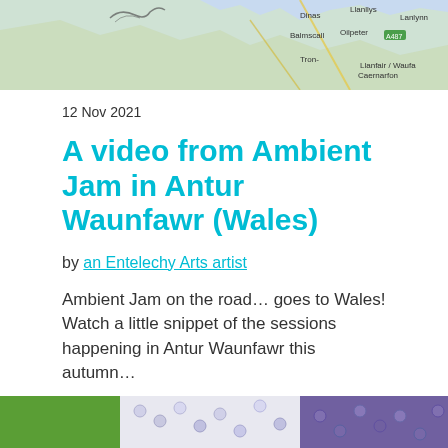[Figure (map): Partial map of Wales showing coastal areas and place names including Caernarfon area]
12 Nov 2021
A video from Ambient Jam in Antur Waunfawr (Wales)
by an Entelechy Arts artist
Ambient Jam on the road… goes to Wales! Watch a little snippet of the sessions happening in Antur Waunfawr this autumn…
READ MORE
[Figure (photo): Bottom partial image showing colorful crocheted or knitted textile with green and purple/blue tones]